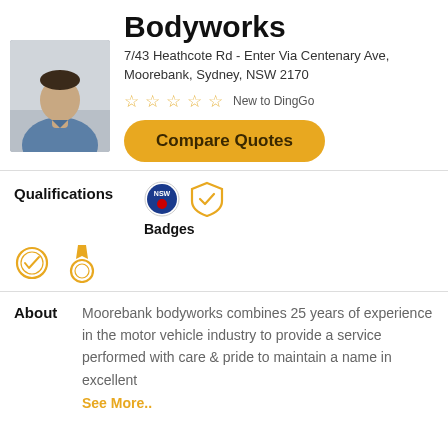[Figure (photo): Profile photo of a man in a blue polo shirt against a light background]
Bodyworks
7/43 Heathcote Rd - Enter Via Centenary Ave, Moorebank, Sydney, NSW 2170
☆☆☆☆☆  New to DingGo
Compare Quotes
Qualifications
[Figure (logo): NSW logo badge and shield verification icon]
Badges
[Figure (illustration): Two badge icons: circular check badge and medal badge]
About
Moorebank bodyworks combines 25 years of experience in the motor vehicle industry to provide a service performed with care & pride to maintain a name in excellent
See More..